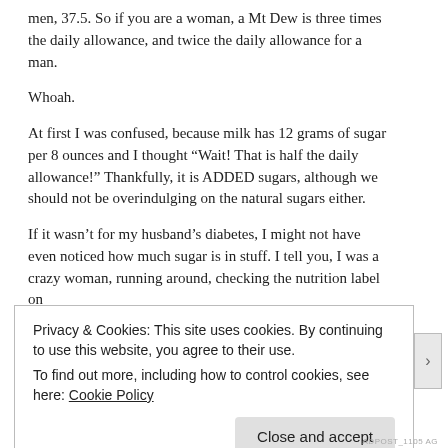men, 37.5. So if you are a woman, a Mt Dew is three times the daily allowance, and twice the daily allowance for a  man.
Whoah.
At first I was confused, because milk has 12 grams of sugar per 8 ounces and I thought “Wait! That is half the daily allowance!” Thankfully, it is ADDED sugars, although we should not be overindulging on the natural sugars either.
If it wasn’t for my husband’s diabetes, I might not have even noticed how much sugar is in stuff. I tell you, I was a crazy woman, running around, checking the nutrition label on
Privacy & Cookies: This site uses cookies. By continuing to use this website, you agree to their use.
To find out more, including how to control cookies, see here: Cookie Policy
Close and accept